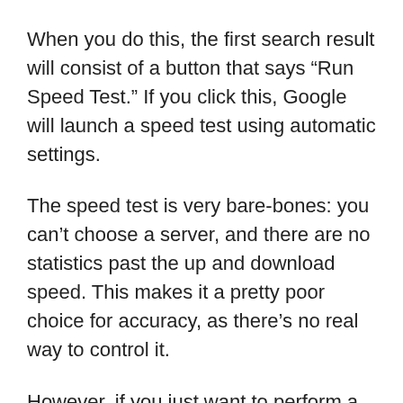When you do this, the first search result will consist of a button that says “Run Speed Test.” If you click this, Google will launch a speed test using automatic settings.
The speed test is very bare-bones: you can’t choose a server, and there are no statistics past the up and download speed. This makes it a pretty poor choice for accuracy, as there’s no real way to control it.
However, if you just want to perform a quick test for a rough idea of how fast your Internet speeds are, the Google speed check is the best